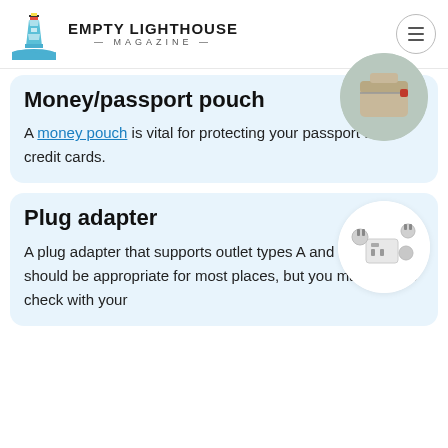EMPTY LIGHTHOUSE MAGAZINE
Money/passport pouch
A money pouch is vital for protecting your passport and credit cards.
[Figure (photo): Photo of a money/passport pouch, beige/khaki color, circular crop]
Plug adapter
A plug adapter that supports outlet types A and B. This one should be appropriate for most places, but you may want to check with your
[Figure (photo): Photo of a universal plug adapter with multiple adapter heads, circular crop on white background]